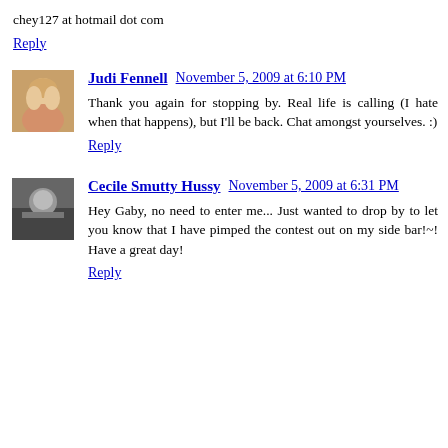chey127 at hotmail dot com
Reply
Judi Fennell November 5, 2009 at 6:10 PM
Thank you again for stopping by. Real life is calling (I hate when that happens), but I'll be back. Chat amongst yourselves. :)
Reply
Cecile Smutty Hussy November 5, 2009 at 6:31 PM
Hey Gaby, no need to enter me... Just wanted to drop by to let you know that I have pimped the contest out on my side bar!~! Have a great day!
Reply